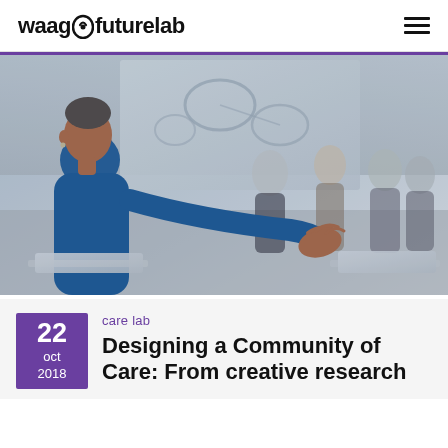waag futurelab
[Figure (photo): A person in a blue t-shirt gesturing with their hand toward a group of people standing and listening in a bright room with a projected screen in the background. Laptops visible on a table in the foreground.]
care lab
Designing a Community of Care: From creative research